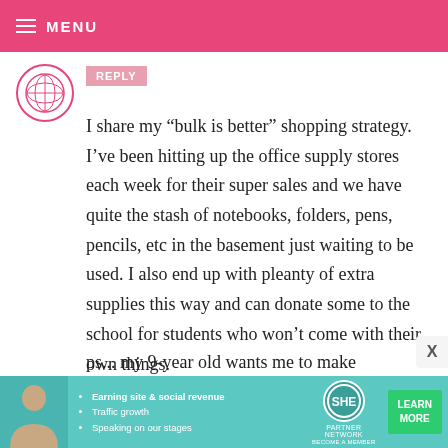MENU
REPLY
I share my “bulk is better” shopping strategy. I’ve been hitting up the office supply stores each week for their super sales and we have quite the stash of notebooks, folders, pens, pencils, etc in the basement just waiting to be used. I also end up with pleanty of extra supplies this way and can donate some to the school for students who won’t come with their own things.
ps... my 9-year old wants me to make
[Figure (infographic): SHE Partner Network advertisement banner with woman photo, bullet points: Earning site & social revenue, Traffic growth, Speaking on our stages. LEARN MORE button.]